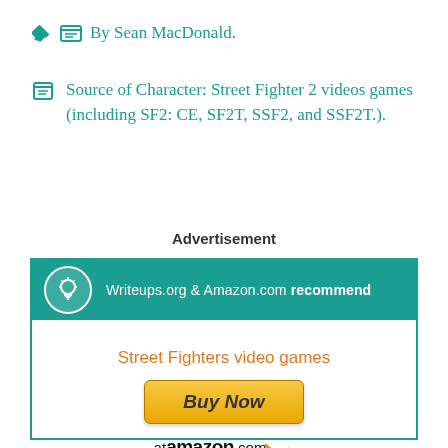✏ By Sean MacDonald.
🗒 Source of Character: Street Fighter 2 videos games (including SF2: CE, SF2T, SSF2, and SSF2T.).
Advertisement
[Figure (infographic): Advertisement box with teal header showing 'Writeups.org & Amazon.com recommend', lightbulb icon, and content area showing 'Street Fighters video games' in orange text with a Buy Now button and 'at amazon.com' below it.]